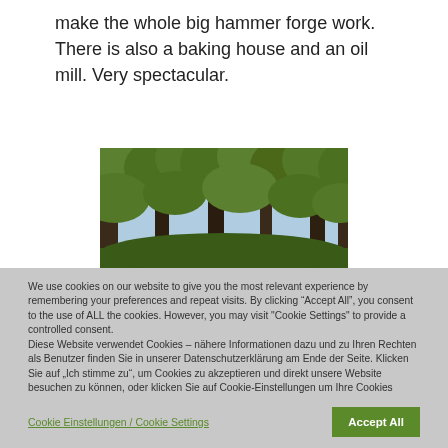make the whole big hammer forge work. There is also a baking house and an oil mill. Very spectacular.
[Figure (photo): Photo of tall trees in a forest with green foliage and a bright sky visible between the trunks.]
We use cookies on our website to give you the most relevant experience by remembering your preferences and repeat visits. By clicking “Accept All”, you consent to the use of ALL the cookies. However, you may visit "Cookie Settings" to provide a controlled consent.
Diese Website verwendet Cookies – nähere Informationen dazu und zu Ihren Rechten als Benutzer finden Sie in unserer Datenschutzerklärung am Ende der Seite. Klicken Sie auf „Ich stimme zu“, um Cookies zu akzeptieren und direkt unsere Website besuchen zu können, oder klicken Sie auf Cookie-Einstellungen um Ihre Cookies selbst zu verwalten.
Cookie Einstellungen / Cookie Settings
Accept All